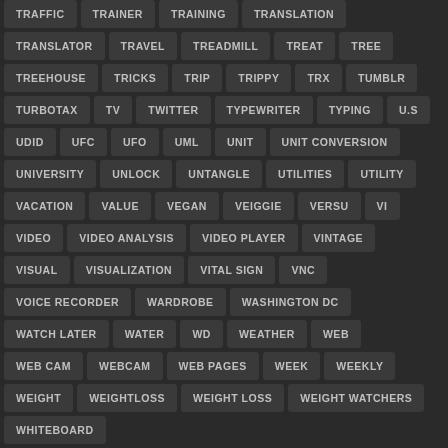TRAFFIC
TRAINER
TRAINING
TRANSLATION
TRANSLATOR
TRAVEL
TREADMILL
TREAT
TREE
TREEHOUSE
TRICKS
TRIP
TRIPPY
TRX
TUMBLR
TURBOTAX
TV
TWITTER
TYPEWRITER
TYPING
U.S
UDID
UFC
UFO
UML
UNIT
UNIT CONVERSION
UNIVERSITY
UNLOCK
UNTANGLE
UTILITIES
UTILITY
VACATION
VALUE
VEGAN
VEIGGIE
VERSU
VI
VIDEO
VIDEO ANALYSIS
VIDEO PLAYER
VINTAGE
VISUAL
VISUALIZATION
VITAL SIGN
VNC
VOICE RECORDER
WARDROBE
WASHINGTON DC
WATCH LATER
WATER
WD
WEATHER
WEB
WEB CAM
WEBCAM
WEB PAGES
WEEK
WEEKLY
WEIGHT
WEIGHTLOSS
WEIGHT LOSS
WEIGHT WATCHERS
WHITEBOARD